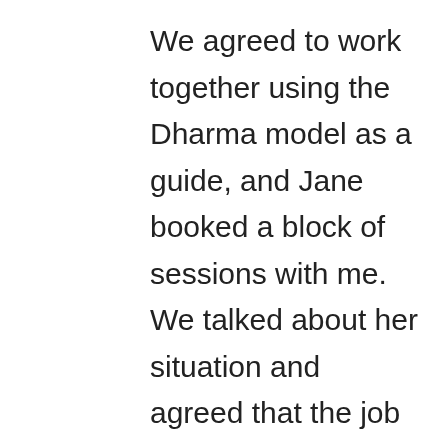We agreed to work together using the Dharma model as a guide, and Jane booked a block of sessions with me. We talked about her situation and agreed that the job was indeed a good professional fit for her. She thought the company would be a big success and that she could play an important part.
We then talked about the Respect principle.
“Why not talk with your boss. Be